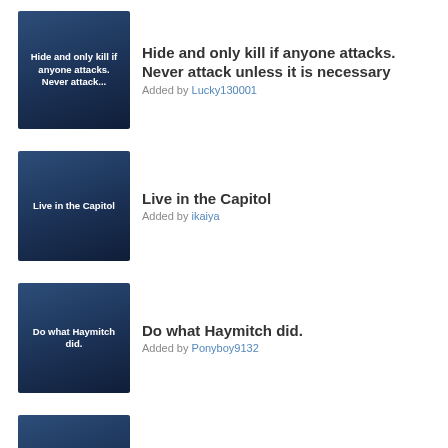Hide and only kill if anyone attacks. Never attack unless it is necessary
Added by Lucky130001
Live in the Capitol
Added by ikaiya
Do what Haymitch did.
Added by Ponyboy9132
WIN
Added by berryfathusky